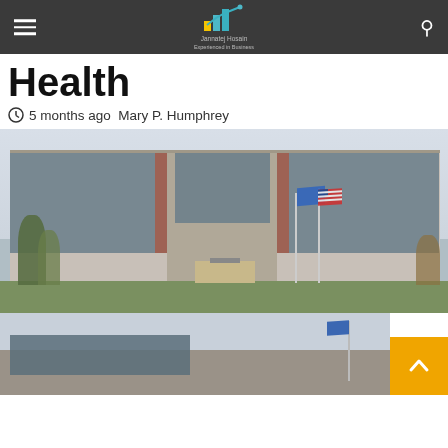Jannatej Hosain Experienced in Business
Health
5 months ago  Mary P. Humphrey
[Figure (photo): Large modern office building (Anthem or similar health insurer) with glass windows, brick accents, three flagpoles with flags, trees in foreground, overcast sky]
[Figure (photo): Partial view of the same or similar building, showing lower portion of facade and a flag, cropped at bottom of page]